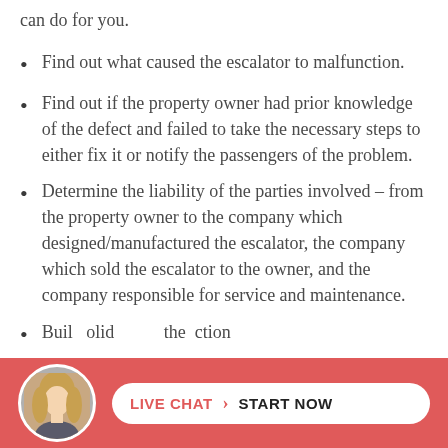can do for you.
Find out what caused the escalator to malfunction.
Find out if the property owner had prior knowledge of the defect and failed to take the necessary steps to either fix it or notify the passengers of the problem.
Determine the liability of the parties involved – from the property owner to the company which designed/manufactured the escalator, the company which sold the escalator to the owner, and the company responsible for service and maintenance.
Build a solid case against the parties...